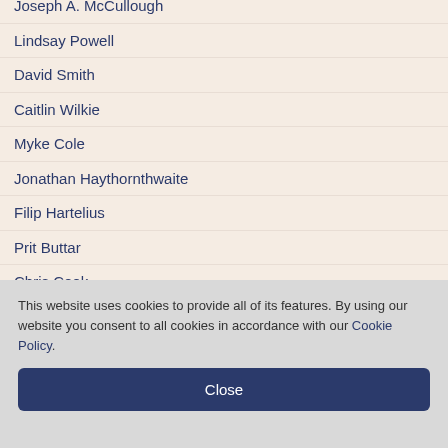Joseph A. McCullough
Lindsay Powell
David Smith
Caitlin Wilkie
Myke Cole
Jonathan Haythornthwaite
Filip Hartelius
Prit Buttar
Chris Cook
Brian Lane Herder
This website uses cookies to provide all of its features. By using our website you consent to all cookies in accordance with our Cookie Policy.
Close